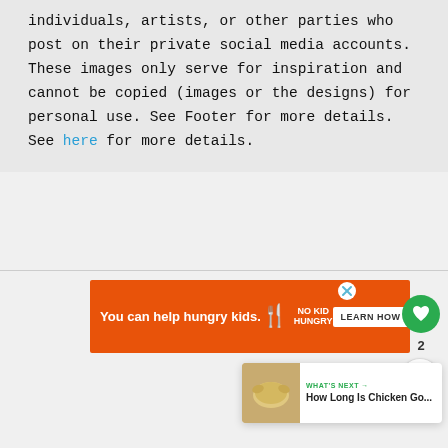individuals, artists, or other parties who post on their private social media accounts. These images only serve for inspiration and cannot be copied (images or the designs) for personal use. See Footer for more details. See here for more details.
[Figure (other): Orange advertisement banner: 'You can help hungry kids. NO KID HUNGRY LEARN HOW' with a close button (X) in the top right corner.]
[Figure (other): Green circular heart/favorite button with count of 2 below it, and a share button (circle with share icon) below that.]
[Figure (other): WHAT'S NEXT card in bottom right: thumbnail of a chicken, label 'WHAT'S NEXT' with arrow, title 'How Long Is Chicken Go...']